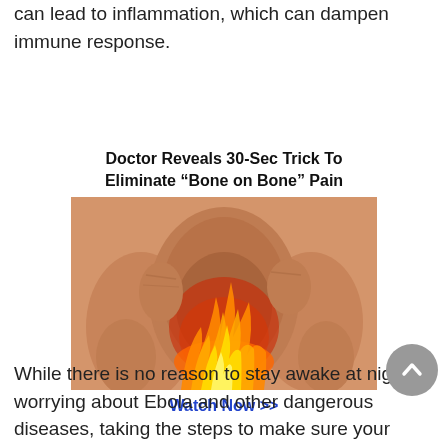can lead to inflammation, which can dampen immune response.
Doctor Reveals 30-Sec Trick To Eliminate “Bone on Bone” Pain
[Figure (photo): Elderly person's hands holding a knee joint with a flame/fire graphic overlaid indicating pain at the knee joint]
Watch Now >>
While there is no reason to stay awake at night worrying about Ebola and other dangerous diseases, taking the steps to make sure your body is in top defensive shape